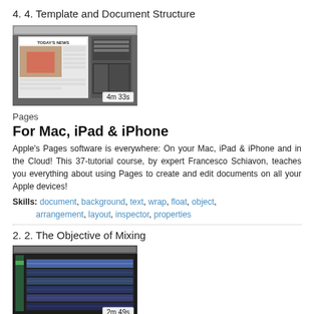4. 4. Template and Document Structure
[Figure (screenshot): Video thumbnail showing Pages app with a newspaper template titled TODAY'S NEWS, duration 4m 33s]
Pages
For Mac, iPad & iPhone
Apple's Pages software is everywhere: On your Mac, iPad & iPhone and in the Cloud! This 37-tutorial course, by expert Francesco Schiavon, teaches you everything about using Pages to create and edit documents on all your Apple devices!
Skills: document, background, text, wrap, float, object, arrangement, layout, inspector, properties
2. 2. The Objective of Mixing
[Figure (screenshot): Video thumbnail showing a dark audio mixing interface in Cubase, duration 2m 49s]
Cubase 7.5 301